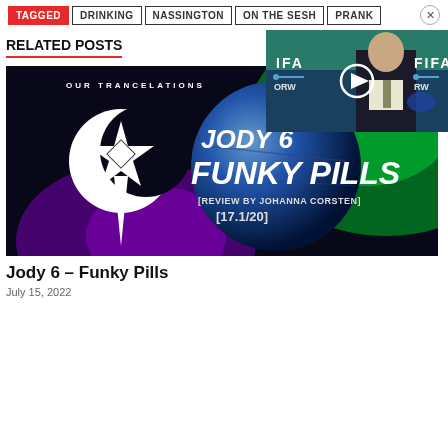TAGGED  DRINKING  NASSINGTON  ON THE SESH  PRANK
RELATED POSTS
[Figure (screenshot): Video thumbnail showing a man in a suit at a FIFA press conference with a play button overlay]
[Figure (photo): Album art for Jody 6 - Funky Pills showing a space scene with planet, green nebula, purple glow, crescent moon logo, and text: JODY 6 FUNKY PILLS [REVIEW BY JOHANNA CORSTEN] [17.1/20]]
Jody 6 – Funky Pills
July 15, 2022